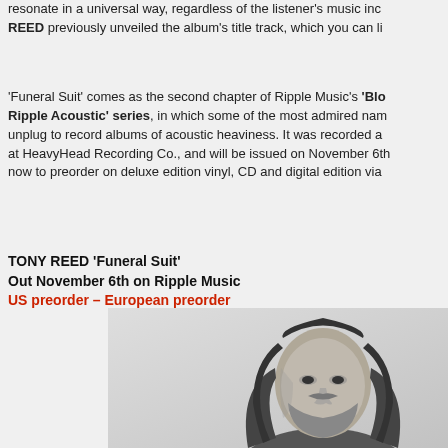resonate in a universal way, regardless of the listener's music inc... REED previously unveiled the album's title track, which you can li...
'Funeral Suit' comes as the second chapter of Ripple Music's 'Blo... Ripple Acoustic' series, in which some of the most admired nam... unplug to record albums of acoustic heaviness. It was recorded a... at HeavyHead Recording Co., and will be issued on November 6th... now to preorder on deluxe edition vinyl, CD and digital edition via...
TONY REED 'Funeral Suit'
Out November 6th on Ripple Music
US preorder – European preorder
[Figure (photo): Black and white album cover photo showing Tony Reed, a man with long curly hair and beard, looking upward. Text reads TONY REED / FUNERAL SUIT in the upper left.]